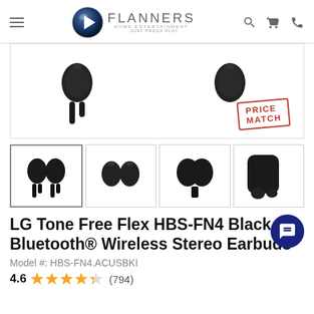[Figure (logo): Flanners Home Entertainment logo with play button circle and text 'FLANNERS HOME ENTERTAINMENT ...JUST PRESS PLAY']
[Figure (photo): Product image showing LG Tone Free Flex HBS-FN4 black wireless earbuds with PRICE MATCH stamp overlay]
[Figure (photo): Thumbnail strip showing four views of LG Tone Free Flex earbuds]
LG Tone Free Flex HBS-FN4 Black Bluetooth® Wireless Stereo Earbuds
Model #: HBS-FN4.ACUSBKI
4.6 ★★★★★ (794)